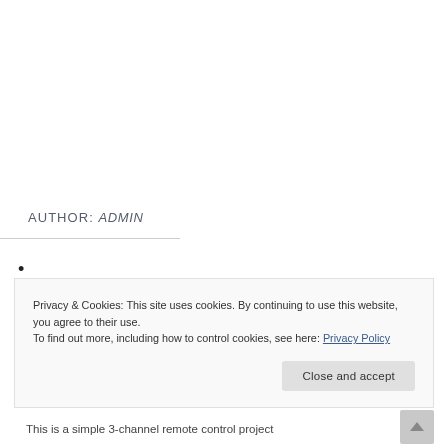AUTHOR: ADMIN
•
Privacy & Cookies: This site uses cookies. By continuing to use this website, you agree to their use.
To find out more, including how to control cookies, see here: Privacy Policy
Close and accept
This is a simple 3-channel remote control project